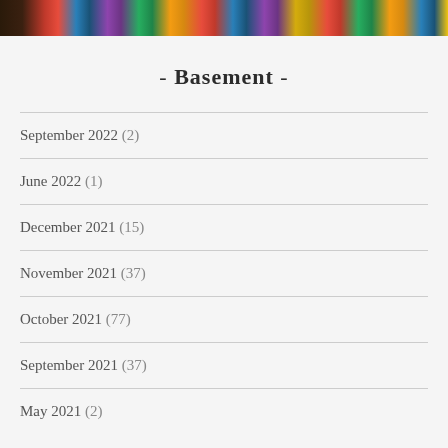[Figure (photo): A strip of colorful book spines or media items on shelves, dark background]
- Basement -
September 2022 (2)
June 2022 (1)
December 2021 (15)
November 2021 (37)
October 2021 (77)
September 2021 (37)
May 2021 (2)